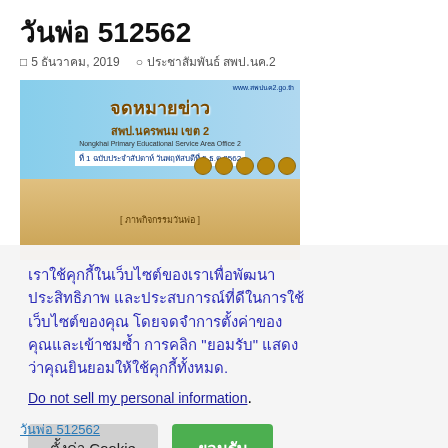วันพ่อ 512562
5 ธันวาคม, 2019   ประชาสัมพันธ์ สพป.นค.2
[Figure (photo): Thai educational news website banner image with Thai text 'จดหมายข่าว สพป.นค.2' and people in traditional dress]
เราใช้คุกกี้ในเว็บไซต์ของเราเพื่อพัฒนาประสิทธิภาพ และประสบการณ์ที่ดีในการใช้เว็บไซต์ของคุณ โดยจดจำการตั้งค่าของคุณและเข้าชมซ้ำ การคลิก "ยอมรับ" แสดงว่าคุณยินยอมให้ใช้คุกกี้ทั้งหมด.
Do not sell my personal information.
ตั้งค่า Cookie   ยอมรับ
วันพ่อ 512562